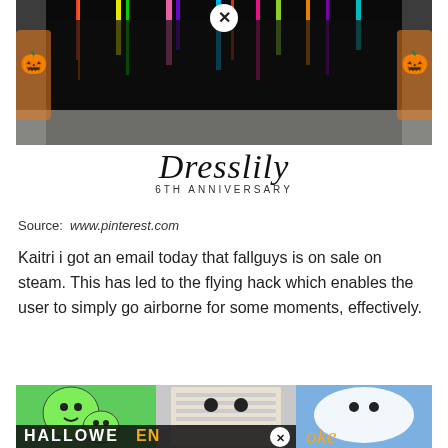[Figure (photo): Halloween-themed rug/mat with colorful dripping paint design on dark background, shown on a floor with pumpkin decorations, with a circular X close button overlay]
[Figure (logo): Dresslily script logo with '6TH ANNIVERSARY' text below in spaced caps]
Source: www.pinterest.com
Kaitri i got an email today that fallguys is on sale on steam. This has led to the flying hack which enables the user to simply go airborne for some moments, effectively.
[Figure (photo): Halloween decorations collage: green alien/ghost balloons, mummy-wrapped door, white ghost figure, with HALLOWEEN text overlay and circular X close button]